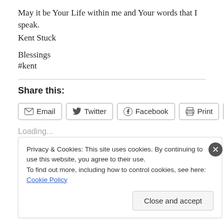May it be Your Life within me and Your words that I speak.
Kent Stuck
Blessings
#kent
Share this:
[Figure (screenshot): Share buttons: Email, Twitter, Facebook, Print, More]
Loading...
Privacy & Cookies: This site uses cookies. By continuing to use this website, you agree to their use.
To find out more, including how to control cookies, see here: Cookie Policy
Close and accept